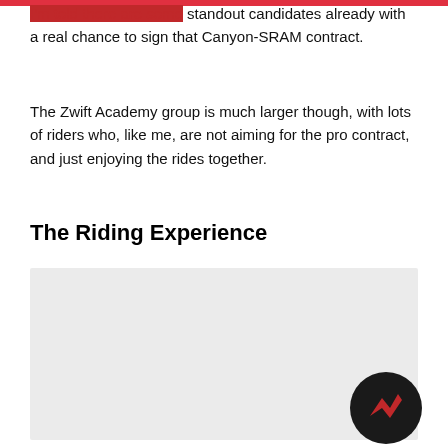I'm told there are some standout candidates already with a real chance to sign that Canyon-SRAM contract.
The Zwift Academy group is much larger though, with lots of riders who, like me, are not aiming for the pro contract, and just enjoying the rides together.
The Riding Experience
[Figure (photo): A light gray placeholder image rectangle with a circular logo icon in the bottom-right corner. The logo shows a dark background circle with a red angular/zigzag design.]